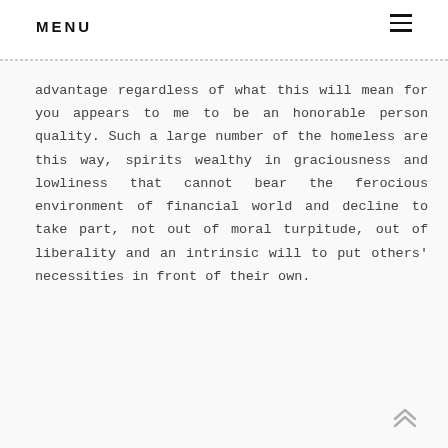MENU ≡
advantage regardless of what this will mean for you appears to me to be an honorable person quality. Such a large number of the homeless are this way, spirits wealthy in graciousness and lowliness that cannot bear the ferocious environment of financial world and decline to take part, not out of moral turpitude, out of liberality and an intrinsic will to put others' necessities in front of their own.